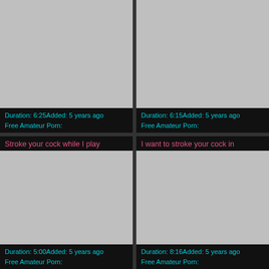[Figure (photo): Gray thumbnail placeholder, top-left video card]
Duration: 6:25Added: 5 years ago
Free Amateur Porn:
[Figure (photo): Gray thumbnail placeholder, top-right video card]
Duration: 6:15Added: 5 years ago
Free Amateur Porn:
Stroke your cock while I play
[Figure (photo): Gray thumbnail placeholder, bottom-left video card]
Duration: 5:00Added: 5 years ago
Free Amateur Porn:
I want to stroke your cock in
[Figure (photo): Gray thumbnail placeholder, bottom-right video card]
Duration: 8:16Added: 5 years ago
Free Amateur Porn: